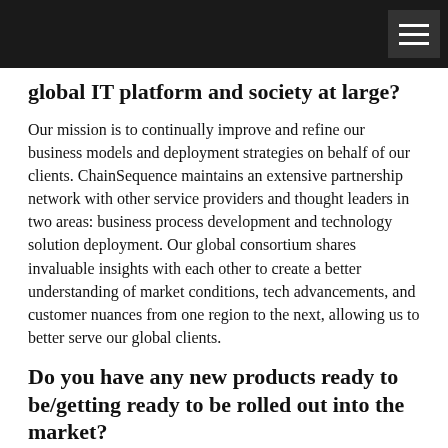global IT platform and society at large?
Our mission is to continually improve and refine our business models and deployment strategies on behalf of our clients. ChainSequence maintains an extensive partnership network with other service providers and thought leaders in two areas: business process development and technology solution deployment. Our global consortium shares invaluable insights with each other to create a better understanding of market conditions, tech advancements, and customer nuances from one region to the next, allowing us to better serve our global clients.
Do you have any new products ready to be/getting ready to be rolled out into the market?
We've seen many similar issues from one